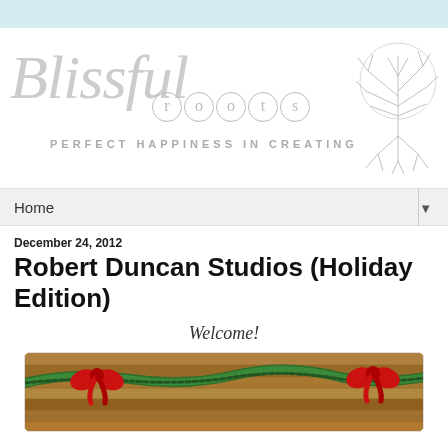[Figure (logo): Blissful Roots logo with cursive Blissful text, circled letters spelling roots, tagline PERFECT HAPPINESS IN CREATING, and decorative tree illustration]
Home
December 24, 2012
Robert Duncan Studios (Holiday Edition)
Welcome!
[Figure (photo): A wooden wall decorated with green garland and two large red velvet bows for Christmas holiday]